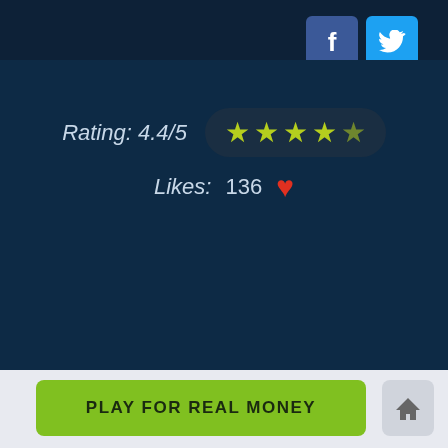[Figure (other): Facebook share button (blue square with 'f' icon) in top-right area]
[Figure (other): Twitter share button (cyan square with bird icon) in top-right area]
Rating: 4.4/5 ★★★★☆
Likes: 136 ♥
PLAY FOR REAL MONEY